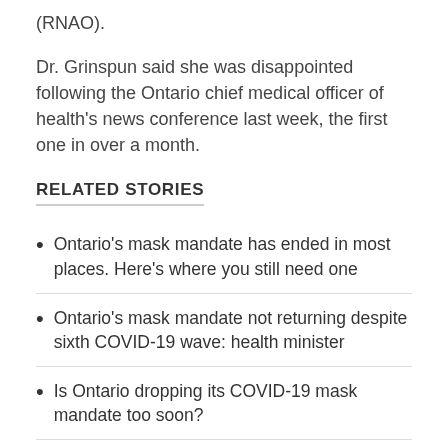(RNAO).
Dr. Grinspun said she was disappointed following the Ontario chief medical officer of health's news conference last week, the first one in over a month.
RELATED STORIES
Ontario's mask mandate has ended in most places. Here's where you still need one
Ontario's mask mandate not returning despite sixth COVID-19 wave: health minister
Is Ontario dropping its COVID-19 mask mandate too soon?